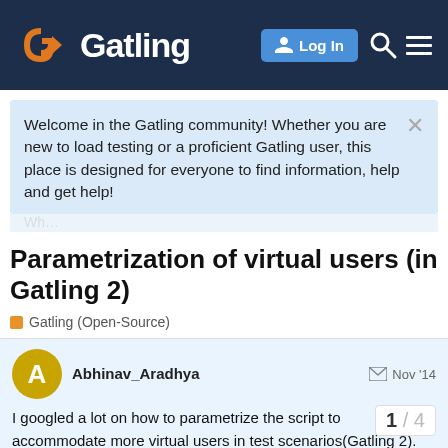Gatling — Log In
Welcome in the Gatling community! Whether you are new to load testing or a proficient Gatling user, this place is designed for everyone to find information, help and get help!
Parametrization of virtual users (in Gatling 2)
Gatling (Open-Source)
Abhinav_Aradhya  Nov '14
I googled a lot on how to parametrize the script to accommodate more virtual users in test scenarios(Gatling 2). There is documentation for feeders(csv,jso… recorded script will have a text file generat